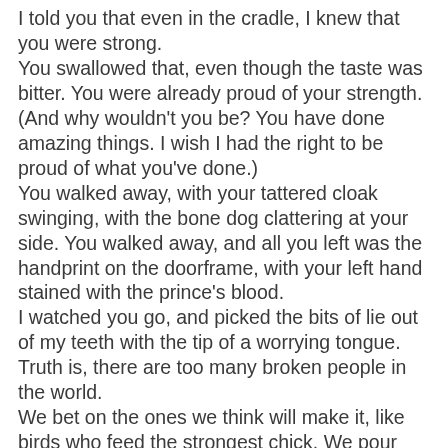I told you that even in the cradle, I knew that you were strong. You swallowed that, even though the taste was bitter. You were already proud of your strength. (And why wouldn't you be? You have done amazing things. I wish I had the right to be proud of what you've done.) You walked away, with your tattered cloak swinging, with the bone dog clattering at your side. You walked away, and all you left was the handprint on the doorframe, with your left hand stained with the prince's blood. I watched you go, and picked the bits of lie out of my teeth with the tip of a worrying tongue. Truth is, there are too many broken people in the world. We bet on the ones we think will make it, like birds who feed the strongest chick. We pour love out on those who are already loved and magic on those who only need a little, since a little is all we have to give. There was nothing much to recommend you as a child. You squalled and whined and cried. You were